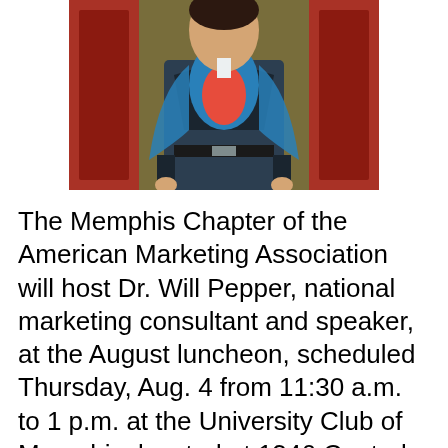[Figure (photo): A person wearing a business suit open to reveal a superhero costume underneath (blue cape/shirt, pink top), standing in a doorway with red walls.]
The Memphis Chapter of the American Marketing Association will host Dr. Will Pepper, national marketing consultant and speaker, at the August luncheon, scheduled Thursday, Aug. 4 from 11:30 a.m. to 1 p.m. at the University Club of Memphis, located at 1346 Central Ave. Pepper will present “Making Superheroes and Businesses